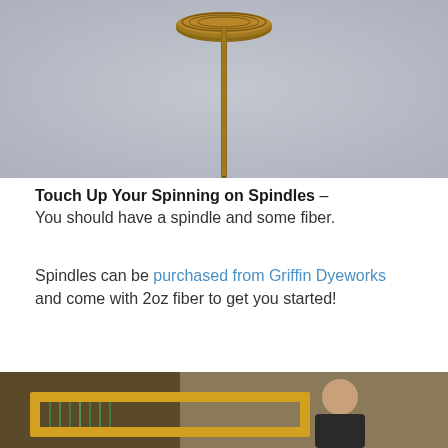[Figure (photo): Close-up photo of a wooden drop spindle against a grey textured wall background]
Touch Up Your Spinning on Spindles – You should have a spindle and some fiber.
Spindles can be purchased from Griffin Dyeworks and come with 2oz fiber to get you started!
[Figure (photo): Photo of a smiling woman sitting behind a frame loom with green warp threads, surrounded by yarn and craft supplies in a shop setting]